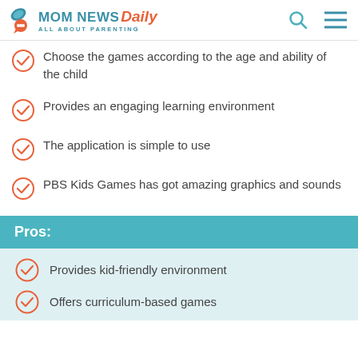MOM NEWS Daily — ALL ABOUT PARENTING
Choose the games according to the age and ability of the child
Provides an engaging learning environment
The application is simple to use
PBS Kids Games has got amazing graphics and sounds
Pros:
Provides kid-friendly environment
Offers curriculum-based games